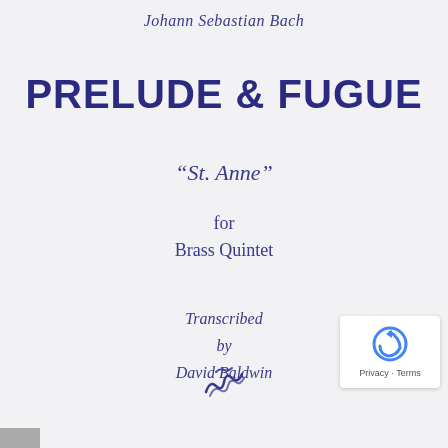Johann Sebastian Bach
PRELUDE & FUGUE
"St. Anne"
for
Brass Quintet
Transcribed
by
David Baldwin
[Figure (logo): Publisher logo — stylized music/wave mark]